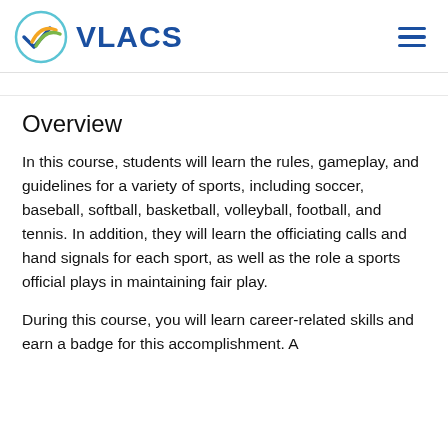[Figure (logo): VLACS logo with circular checkmark/swoosh icon in blue, green, and orange, followed by bold blue text 'VLACS']
Overview
In this course, students will learn the rules, gameplay, and guidelines for a variety of sports, including soccer, baseball, softball, basketball, volleyball, football, and tennis. In addition, they will learn the officiating calls and hand signals for each sport, as well as the role a sports official plays in maintaining fair play.
During this course, you will learn career-related skills and earn a badge for this accomplishment. A